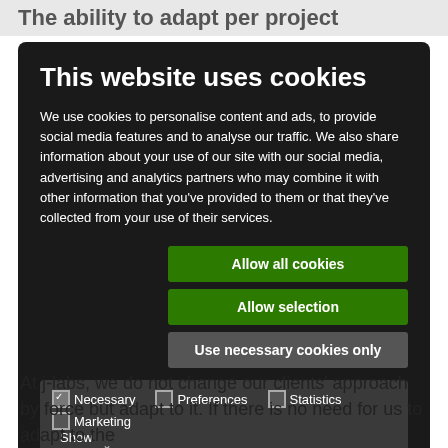The ability to adapt per project
This website uses cookies
We use cookies to personalise content and ads, to provide social media features and to analyse our traffic. We also share information about your use of our site with our social media, advertising and analytics partners who may combine it with other information that you've provided to them or that they've collected from your use of their services.
Allow all cookies
Allow selection
Use necessary cookies only
Necessary  Preferences  Statistics  Marketing  Show details
At j-labs, we do not change our clients' approach by force but adapt to it. If there is no need for us to adapt to the